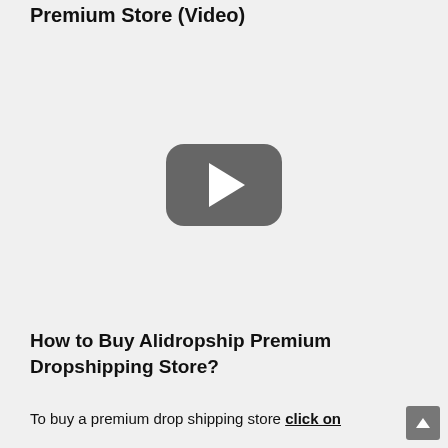Premium Store (Video)
[Figure (other): YouTube video player placeholder with gray rounded rectangle and white play triangle button]
How to Buy Alidropship Premium Dropshipping Store?
To buy a premium drop shipping store click on